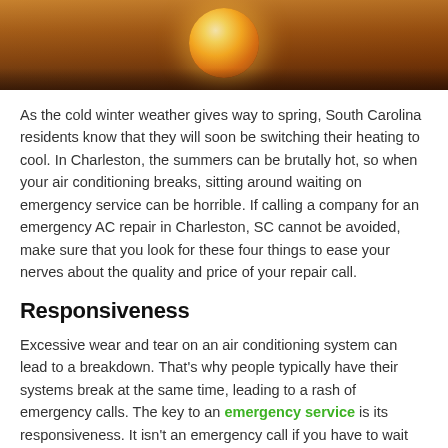[Figure (photo): Close-up photo of a hot surface or heating element with warm orange and brown tones, possibly a space heater or similar appliance.]
As the cold winter weather gives way to spring, South Carolina residents know that they will soon be switching their heating to cool. In Charleston, the summers can be brutally hot, so when your air conditioning breaks, sitting around waiting on emergency service can be horrible. If calling a company for an emergency AC repair in Charleston, SC cannot be avoided, make sure that you look for these four things to ease your nerves about the quality and price of your repair call.
Responsiveness
Excessive wear and tear on an air conditioning system can lead to a breakdown. That's why people typically have their systems break at the same time, leading to a rash of emergency calls. The key to an emergency service is its responsiveness. It isn't an emergency call if you have to wait days for the company to show up. If you can't even get someone to answer your initial call, that's not a great sign that they will show up when you need them most. Always look for a company that